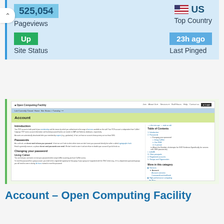[Figure (screenshot): Website analytics card showing 525,054 Pageviews, US Top Country, Up Site Status, 23h ago Last Pinged]
[Figure (screenshot): Screenshot of Open Computing Facility website showing Account page with Introduction, Passwords, Changing your password sections and Table of Contents sidebar]
Account – Open Computing Facility